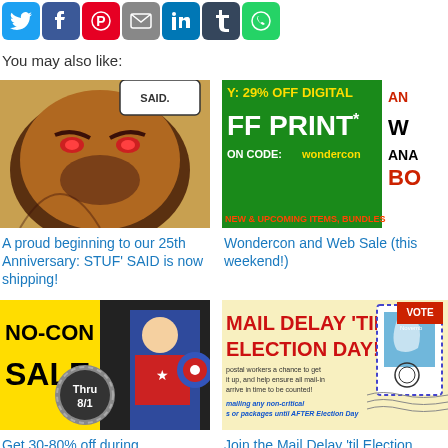[Figure (illustration): Social media sharing icons row: Twitter, Facebook, Pinterest, Email, LinkedIn, Tumblr, WhatsApp]
You may also like:
[Figure (illustration): Comic book art showing a large villain character face close-up with speech bubble]
A proud beginning to our 25th Anniversary: STUF' SAID is now shipping!
[Figure (illustration): Wondercon web sale advertisement banner: 29% off digital, off print, code: wondercon, new & upcoming items bundles]
Wondercon and Web Sale (this weekend!)
[Figure (illustration): NO-CON SALE banner with Captain America image, Thru 8/1]
Get 30-80% off during TwoMorrows' NO-CON SALE (thru August 1)
[Figure (illustration): Mail Delay til Election Day promotional image with stamp graphic and text about postal workers]
Join the Mail Delay 'til Election Day!